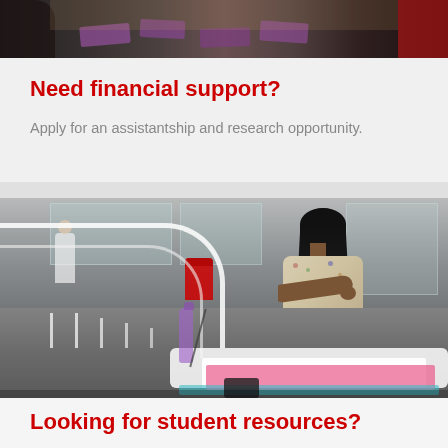[Figure (photo): Top portion of a photo showing people at a table with purple/red cards or materials, partially cropped]
Need financial support?
Apply for an assistantship and research opportunity.
[Figure (photo): A female student with long braids sitting at a white table in a modern campus building with curved railings, writing in a notebook with a water bottle nearby. Another student visible in background.]
Looking for student resources?